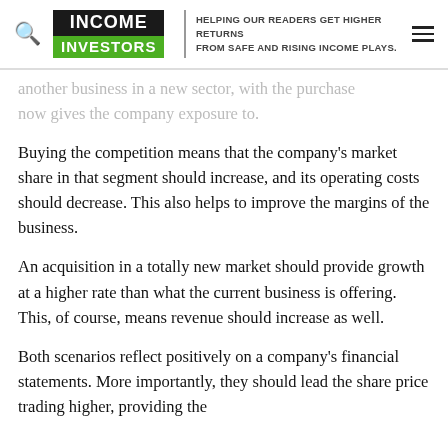INCOME INVESTORS — HELPING OUR READERS GET HIGHER RETURNS FROM SAFE AND RISING INCOME PLAYS.
another business in a new sector, with the purchase now gives the company exposure to.
Buying the competition means that the company's market share in that segment should increase, and its operating costs should decrease. This also helps to improve the margins of the business.
An acquisition in a totally new market should provide growth at a higher rate than what the current business is offering. This, of course, means revenue should increase as well.
Both scenarios reflect positively on a company's financial statements. More importantly, they should lead the share price trading higher, providing the